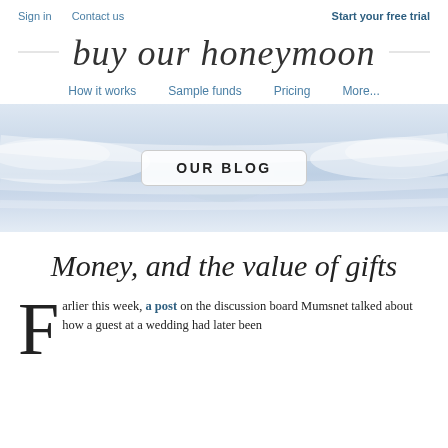Sign in   Contact us   Start your free trial
buy our honeymoon
How it works   Sample funds   Pricing   More...
[Figure (photo): Sky/clouds hero banner with OUR BLOG badge overlay]
OUR BLOG
Money, and the value of gifts
Earlier this week, a post on the discussion board Mumsnet talked about how a guest at a wedding had later been